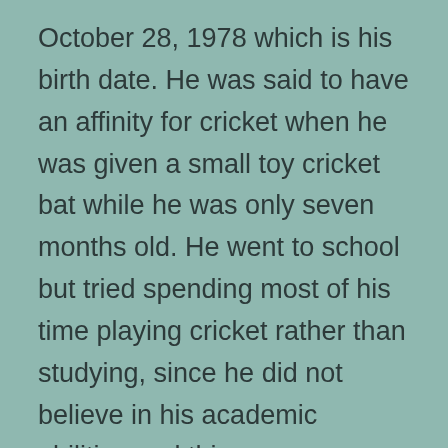October 28, 1978 which is his birth date. He was said to have an affinity for cricket when he was given a small toy cricket bat while he was only seven months old. He went to school but tried spending most of his time playing cricket rather than studying, since he did not believe in his academic abilities and this was something his parents had to live with. He did have to wrestle with his parents wishes for a long time to ensure that he took up cricket as his career which he finally did following his graduation from Jamia Milia Islamia in Delhi.
His hard work and passion was rewarded with